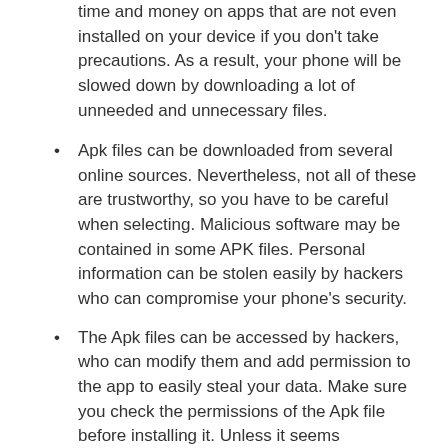time and money on apps that are not even installed on your device if you don't take precautions. As a result, your phone will be slowed down by downloading a lot of unneeded and unnecessary files.
Apk files can be downloaded from several online sources. Nevertheless, not all of these are trustworthy, so you have to be careful when selecting. Malicious software may be contained in some APK files. Personal information can be stolen easily by hackers who can compromise your phone's security.
The Apk files can be accessed by hackers, who can modify them and add permission to the app to easily steal your data. Make sure you check the permissions of the Apk file before installing it. Unless it seems trustworthy, do not install it.
Frequently Asked Questions